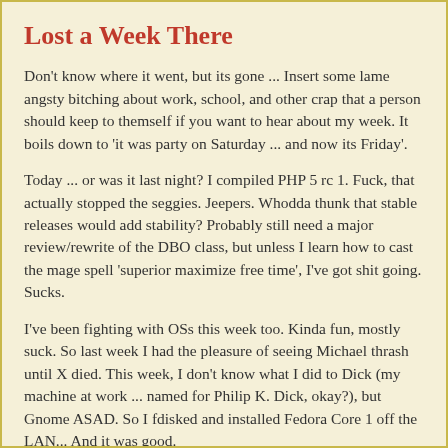Lost a Week There
Don't know where it went, but its gone ... Insert some lame angsty bitching about work, school, and other crap that a person should keep to themself if you want to hear about my week. It boils down to 'it was party on Saturday ... and now its Friday'.
Today ... or was it last night? I compiled PHP 5 rc 1. Fuck, that actually stopped the seggies. Jeepers. Whodda thunk that stable releases would add stability? Probably still need a major review/rewrite of the DBO class, but unless I learn how to cast the mage spell 'superior maximize free time', I've got shit going. Sucks.
I've been fighting with OSs this week too. Kinda fun, mostly suck. So last week I had the pleasure of seeing Michael thrash until X died. This week, I don't know what I did to Dick (my machine at work ... named for Philip K. Dick, okay?), but Gnome ASAD. So I fdisked and installed Fedora Core 1 off the LAN... And it was good.